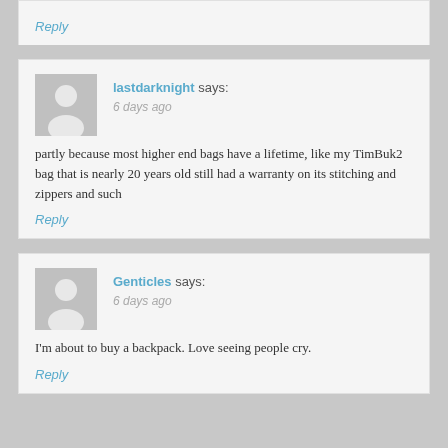Reply
lastdarknight says: 6 days ago
partly because most higher end bags have a lifetime, like my TimBuk2 bag that is nearly 20 years old still had a warranty on its stitching and zippers and such
Reply
Genticles says: 6 days ago
I'm about to buy a backpack. Love seeing people cry.
Reply